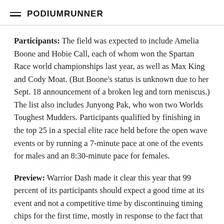PodiumRunner
Participants: The field was expected to include Amelia Boone and Hobie Call, each of whom won the Spartan Race world championships last year, as well as Max King and Cody Moat. (But Boone's status is unknown due to her Sept. 18 announcement of a broken leg and torn meniscus.) The list also includes Junyong Pak, who won two Worlds Toughest Mudders. Participants qualified by finishing in the top 25 in a special elite race held before the open wave events or by running a 7-minute pace at one of the events for males and an 8:30-minute pace for females.
Preview: Warrior Dash made it clear this year that 99 percent of its participants should expect a good time at its event and not a competitive time by discontinuing timing chips for the first time, mostly in response to the fact that almost all are there just